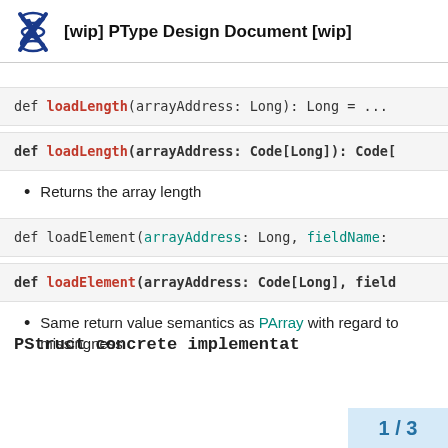[wip] PType Design Document [wip]
def loadLength(arrayAddress: Long): Long = ...
def loadLength(arrayAddress: Code[Long]): Code[
Returns the array length
def loadElement(arrayAddress: Long, fieldName:
def loadElement(arrayAddress: Code[Long], field
Same return value semantics as PArray with regard to missingness
PStruct concrete implementat
1 / 3